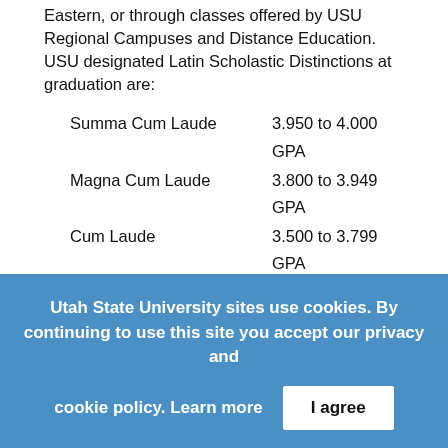Eastern, or through classes offered by USU Regional Campuses and Distance Education. USU designated Latin Scholastic Distinctions at graduation are:
| Summa Cum Laude | 3.950 to 4.000 GPA |
| Magna Cum Laude | 3.800 to 3.949 GPA |
| Cum Laude | 3.500 to 3.799 GPA |
These distinctions will appear on the diploma and on the official transcript.
Honors Degrees
In addition to the Scholastic Distinctions presented at
Utah State University sites use cookies. By continuing to use this site you accept our privacy and cookie policy. Learn more
I agree